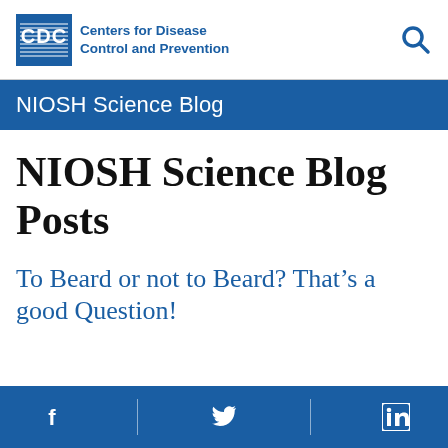CDC Centers for Disease Control and Prevention
NIOSH Science Blog
NIOSH Science Blog Posts
To Beard or not to Beard? That's a good Question!
Facebook | Twitter | LinkedIn